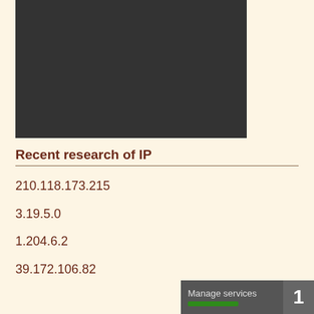[Figure (screenshot): Dark rectangular screenshot area at the top of the page]
Recent research of IP
210.118.173.215
3.19.5.0
1.204.6.2
39.172.106.82
[Figure (screenshot): Manage services button with green indicator bar and number 1]